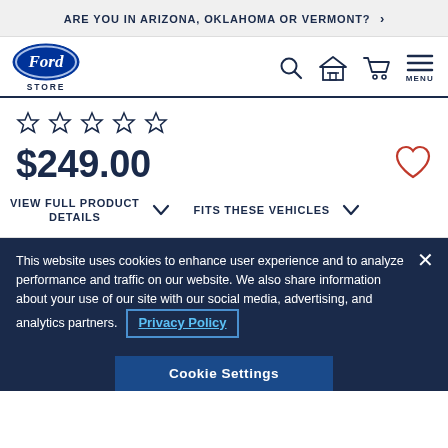ARE YOU IN ARIZONA, OKLAHOMA OR VERMONT? >
[Figure (logo): Ford oval logo in blue with 'Ford' text, and 'STORE' text below]
[Figure (infographic): Navigation icons: search (magnifying glass), garage/house, shopping cart, hamburger menu with MENU label]
[Figure (infographic): Five empty star rating icons]
$249.00
[Figure (illustration): Heart icon outline in red/crimson]
VIEW FULL PRODUCT DETAILS
FITS THESE VEHICLES
This website uses cookies to enhance user experience and to analyze performance and traffic on our website. We also share information about your use of our site with our social media, advertising, and analytics partners. Privacy Policy
Cookie Settings